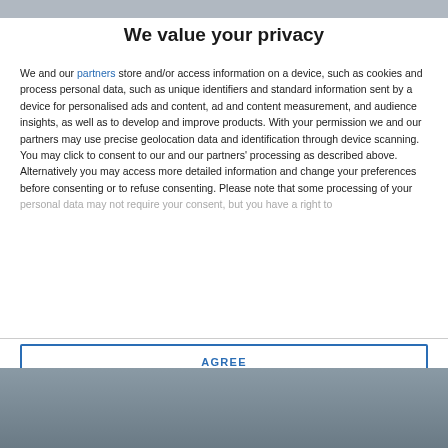We value your privacy
We and our partners store and/or access information on a device, such as cookies and process personal data, such as unique identifiers and standard information sent by a device for personalised ads and content, ad and content measurement, and audience insights, as well as to develop and improve products. With your permission we and our partners may use precise geolocation data and identification through device scanning. You may click to consent to our and our partners' processing as described above. Alternatively you may access more detailed information and change your preferences before consenting or to refuse consenting. Please note that some processing of your personal data may not require your consent, but you have a right to
AGREE
MORE OPTIONS
[Figure (photo): Partial photo visible at bottom of page, appears to show a person, cropped]